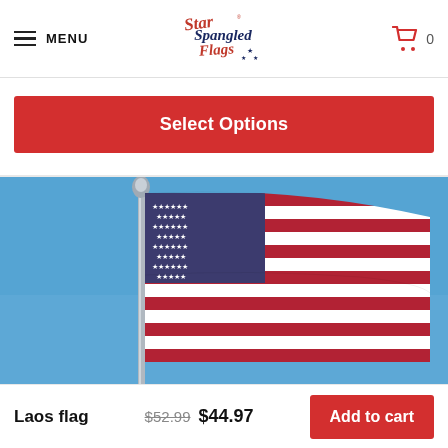MENU | Star Spangled Flags | Cart 0
Select Options
[Figure (photo): American flag waving on a pole against a clear blue sky, photo taken from below looking up]
Laos flag  $52.99  $44.97  Add to cart